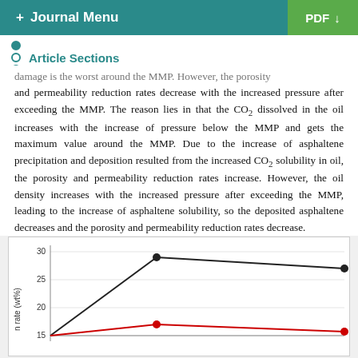+ Journal Menu | PDF ↓
Article Sections
damage is the worst around the MMP. However, the porosity and permeability reduction rates decrease with the increased pressure after exceeding the MMP. The reason lies in that the CO₂ dissolved in the oil increases with the increase of pressure below the MMP and gets the maximum value around the MMP. Due to the increase of asphaltene precipitation and deposition resulted from the increased CO₂ solubility in oil, the porosity and permeability reduction rates increase. However, the oil density increases with the increased pressure after exceeding the MMP, leading to the increase of asphaltene solubility, so the deposited asphaltene decreases and the porosity and permeability reduction rates decrease.
[Figure (line-chart): Line chart showing two series (black and red lines with markers) plotted against x-axis (unlabeled), y-axis labeled 'n rate (wt%)' with values 15, 20, 25, 30 visible. Black line starts around 28-29 then decreases to ~27. Red line starts around 16 then decreases to ~14.]